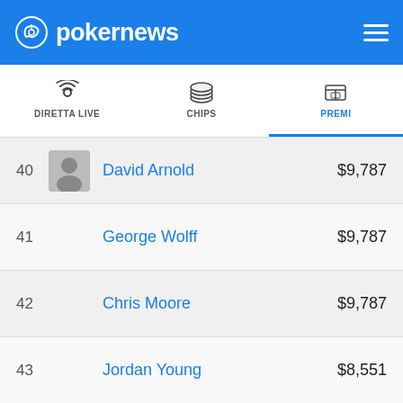pokernews
| # | Player | Prize |
| --- | --- | --- |
| 40 | David Arnold | $9,787 |
| 41 | George Wolff | $9,787 |
| 42 | Chris Moore | $9,787 |
| 43 | Jordan Young | $8,551 |
| 44 | Dario Sammartino | $8,551 |